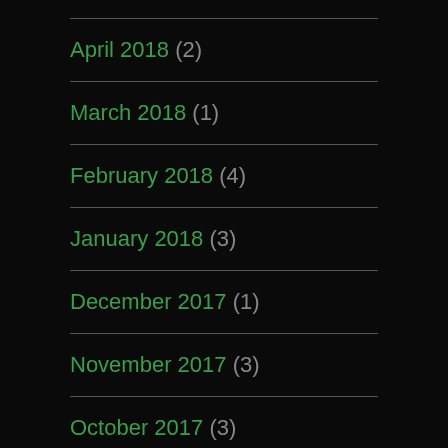April 2018 (2)
March 2018 (1)
February 2018 (4)
January 2018 (3)
December 2017 (1)
November 2017 (3)
October 2017 (3)
September 2017 (2)